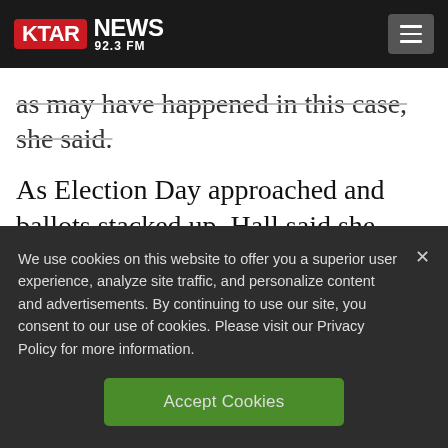KTAR NEWS 92.3 FM
as may have happened in this case, she said.
As Election Day approached and ballots stacked up, Hall said she allowed elections workers to take the weekend off because just three people signed up to work Saturday
We use cookies on this website to offer you a superior user experience, analyze site traffic, and personalize content and advertisements. By continuing to use our site, you consent to our use of cookies. Please visit our Privacy Policy for more information.
Accept Cookies